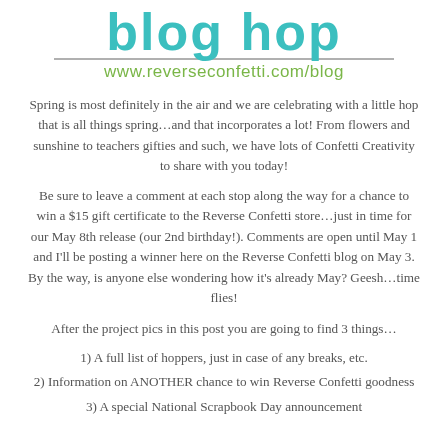blog hop
www.reverseconfetti.com/blog
Spring is most definitely in the air and we are celebrating with a little hop that is all things spring…and that incorporates a lot!  From flowers and sunshine to teachers gifties and such, we have lots of Confetti Creativity to share with you today!
Be sure to leave a comment at each stop along the way for a chance to win a $15 gift certificate to the Reverse Confetti store…just in time for our May 8th release (our 2nd birthday!).  Comments are open until May 1 and I'll be posting a winner here on the Reverse Confetti blog on May 3.  By the way, is anyone else wondering how it's already May?  Geesh…time flies!
After the project pics in this post you are going to find 3 things…
1) A full list of hoppers, just in case of any breaks, etc.
2) Information on ANOTHER chance to win Reverse Confetti goodness
3) A special National Scrapbook Day announcement